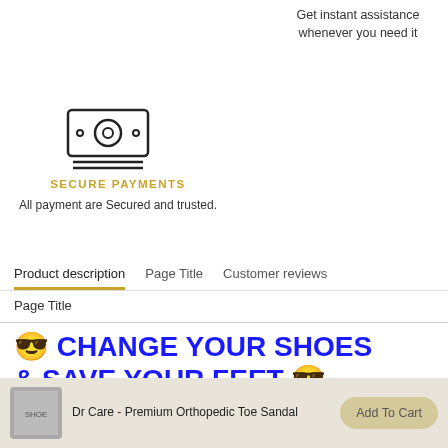Get instant assistance whenever you need it
[Figure (illustration): Icon of banknotes/cash representing secure payments]
SECURE PAYMENTS
All payment are Secured and trusted.
Product description	Page Title	Customer reviews
Page Title
😎 CHANGE YOUR SHOES & SAVE YOUR FEET 😎
Dr Care - Premium Orthopedic Toe Sandal
Add To Cart